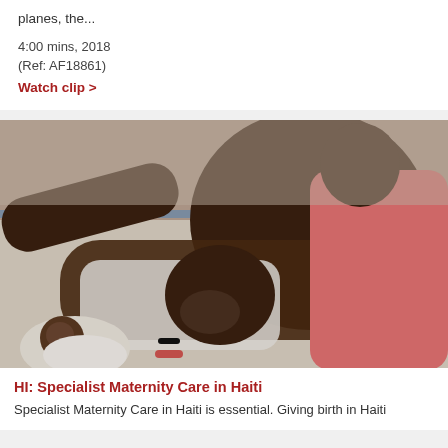planes, the...
4:00 mins, 2018
(Ref: AF18861)
Watch clip >
[Figure (photo): A woman lying on a hospital bed with a newborn baby wrapped in white cloth beside her. Another person in a pink top is visible in the background. Hospital setting in Haiti.]
HI: Specialist Maternity Care in Haiti
Specialist Maternity Care in Haiti is essential. Giving birth in Haiti